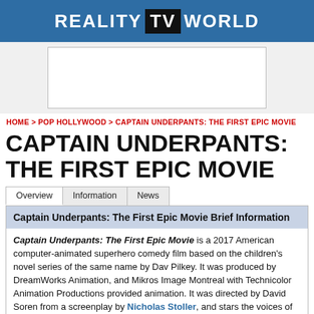REALITY TV WORLD
[Figure (other): Advertisement banner placeholder]
HOME > POP HOLLYWOOD > CAPTAIN UNDERPANTS: THE FIRST EPIC MOVIE
CAPTAIN UNDERPANTS: THE FIRST EPIC MOVIE
Captain Underpants: The First Epic Movie Brief Information
Captain Underpants: The First Epic Movie is a 2017 American computer-animated superhero comedy film based on the children's novel series of the same name by Dav Pilkey. It was produced by DreamWorks Animation, and Mikros Image Montreal with Technicolor Animation Productions provided animation. It was directed by David Soren from a screenplay by Nicholas Stoller, and stars the voices of Kevin Hart, Ed Helms, Nick Kroll, Thomas